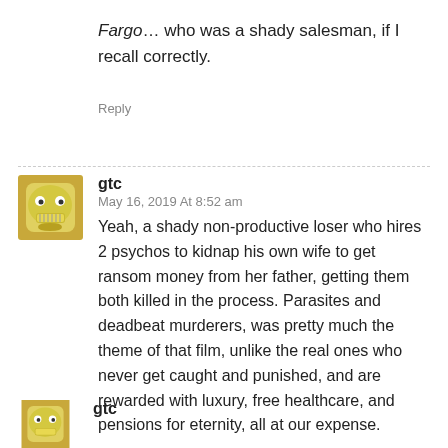Fargo… who was a shady salesman, if I recall correctly.
Reply
gtc
May 16, 2019 At 8:52 am
Yeah, a shady non-productive loser who hires 2 psychos to kidnap his own wife to get ransom money from her father, getting them both killed in the process. Parasites and deadbeat murderers, was pretty much the theme of that film, unlike the real ones who never get caught and punished, and are rewarded with luxury, free healthcare, and pensions for eternity, all at our expense.
Reply
gtc